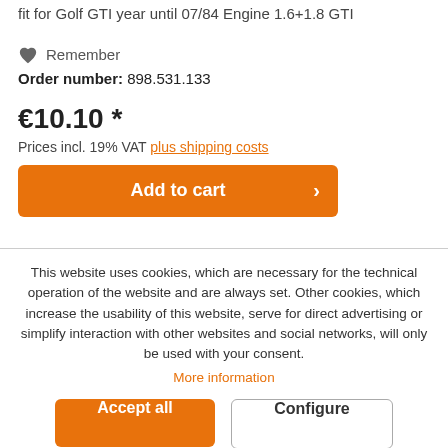fit for Golf GTI year until 07/84 Engine 1.6+1.8 GTI
Remember
Order number: 898.531.133
€10.10 *
Prices incl. 19% VAT plus shipping costs
Add to cart
This website uses cookies, which are necessary for the technical operation of the website and are always set. Other cookies, which increase the usability of this website, serve for direct advertising or simplify interaction with other websites and social networks, will only be used with your consent. More information
Accept all
Configure